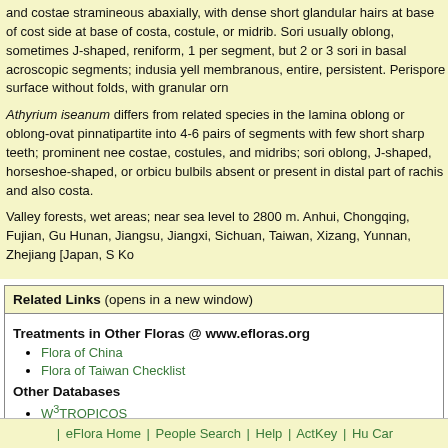and costae stramineous abaxially, with dense short glandular hairs at base of costa, side at base of costa, costule, or midrib. Sori usually oblong, sometimes J-shaped, reniform, 1 per segment, but 2 or 3 sori in basal acroscopic segments; indusia yellow, membranous, entire, persistent. Perispore surface without folds, with granular orna
Athyrium iseanum differs from related species in the lamina oblong or oblong-ovate, pinnatipartite into 4-6 pairs of segments with few short sharp teeth; prominent needlelike costae, costules, and midribs; sori oblong, J-shaped, horseshoe-shaped, or orbicular; bulbils absent or present in distal part of rachis and also costa.
Valley forests, wet areas; near sea level to 2800 m. Anhui, Chongqing, Fujian, Gua Hunan, Jiangsu, Jiangxi, Sichuan, Taiwan, Xizang, Yunnan, Zhejiang [Japan, S Ko
Related Links (opens in a new window)
Treatments in Other Floras @ www.efloras.org
Flora of China
Flora of Taiwan Checklist
Other Databases
W3TROPICOS
IPNI
| eFlora Home | People Search | Help | ActKey | Hu Card